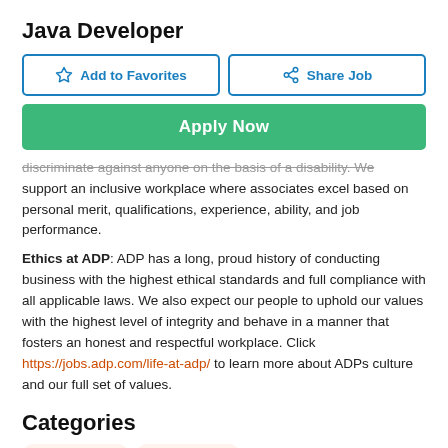Java Developer
discriminate against anyone on the basis of a disability. We support an inclusive workplace where associates excel based on personal merit, qualifications, experience, ability, and job performance.
Ethics at ADP: ADP has a long, proud history of conducting business with the highest ethical standards and full compliance with all applicable laws. We also expect our people to uphold our values with the highest level of integrity and behave in a manner that fosters an honest and respectful workplace. Click https://jobs.adp.com/life-at-adp/ to learn more about ADPs culture and our full set of values.
Categories
Management
Engineering